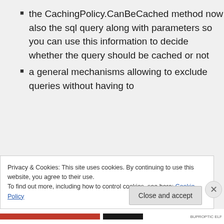the CachingPolicy.CanBeCached method now also the sql query along with parameters so you can use this information to decide whether the query should be cached or not
a general mechanisms allowing to exclude queries without having to
Privacy & Cookies: This site uses cookies. By continuing to use this website, you agree to their use.
To find out more, including how to control cookies, see here: Cookie Policy